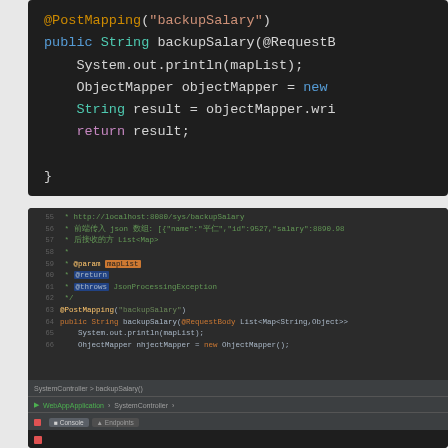[Figure (screenshot): Dark-themed code editor showing Java Spring Boot code snippet with @PostMapping annotation, public String backupSalary method, System.out.println, ObjectMapper, String result, and return result statements.]
[Figure (screenshot): IntelliJ IDEA IDE screenshot showing Java code with Javadoc comments (lines 55-62) describing the backupSalary endpoint, @PostMapping annotation, public String backupSalary method signature, and the beginning of the method body. Shows breadcrumb navigation, Run bar with WebAppApplication and SystemController, Console and Endpoints tabs, and an empty console area.]